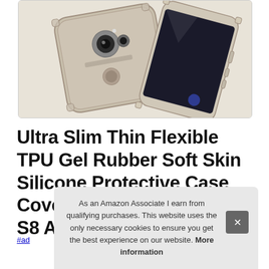[Figure (photo): Product photo of a clear/transparent TPU silicone phone case for Samsung Galaxy S8 Active, showing two phones in the case from back and side angles against a light background, framed with a rounded rectangle border.]
Ultra Slim Thin Flexible TPU Gel Rubber Soft Skin Silicone Protective Case Cover for Samsung Galaxy S8 Active Cl...
#ad
As an Amazon Associate I earn from qualifying purchases. This website uses the only necessary cookies to ensure you get the best experience on our website. More information